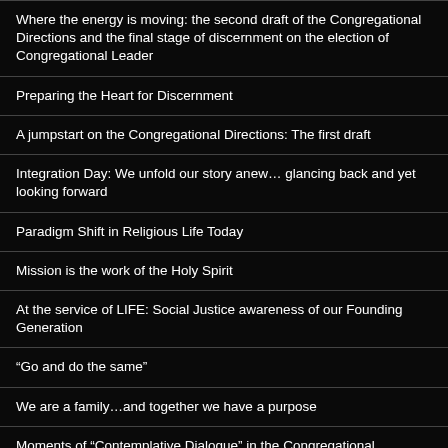Where the energy is moving: the second draft of the Congregational Directions and the final stage of discernment on the election of Congregational Leader
Preparing the Heart for Discernment
A jumpstart on the Congregational Directions: The first draft
Integration Day: We unfold our story anew... glancing back and yet looking forward
Paradigm Shift in Religious Life Today
Mission is the work of the Holy Spirit
At the service of LIFE: Social Justice awareness of our Founding Generation
“Go and do the same”
We are a family…and together we have a purpose
Moments of “Contemplative Dialogue” in the Congregational Leadership Team Election Process